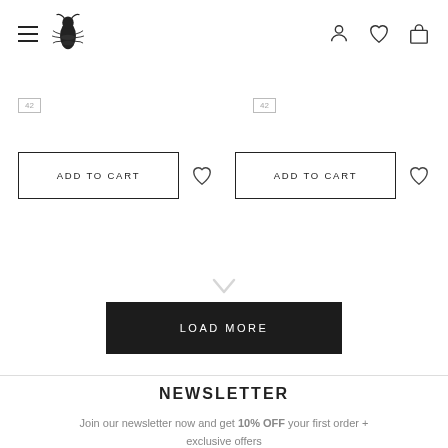Navigation header with hamburger menu, insect logo, and icons for user, wishlist, and cart
[Figure (screenshot): Two 'ADD TO CART' buttons side by side with heart/wishlist icons next to each, and size badge '42' above each]
[Figure (other): LOAD MORE button in black with a down arrow icon above]
NEWSLETTER
Join our newsletter now and get 10% OFF your first order + exclusive offers